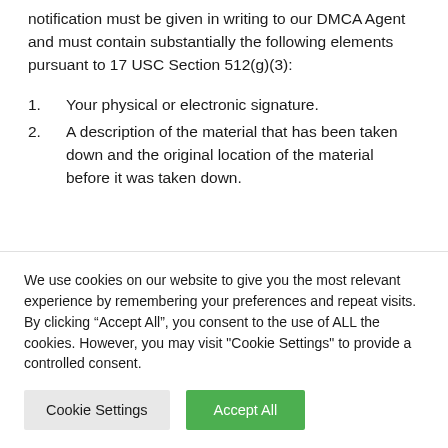notification must be given in writing to our DMCA Agent and must contain substantially the following elements pursuant to 17 USC Section 512(g)(3):
Your physical or electronic signature.
A description of the material that has been taken down and the original location of the material before it was taken down.
We use cookies on our website to give you the most relevant experience by remembering your preferences and repeat visits. By clicking “Accept All”, you consent to the use of ALL the cookies. However, you may visit "Cookie Settings" to provide a controlled consent.